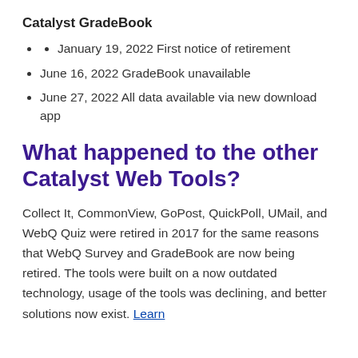Catalyst GradeBook
January 19, 2022 First notice of retirement
June 16, 2022 GradeBook unavailable
June 27, 2022 All data available via new download app
What happened to the other Catalyst Web Tools?
Collect It, CommonView, GoPost, QuickPoll, UMail, and WebQ Quiz were retired in 2017 for the same reasons that WebQ Survey and GradeBook are now being retired. The tools were built on a now outdated technology, usage of the tools was declining, and better solutions now exist. Learn